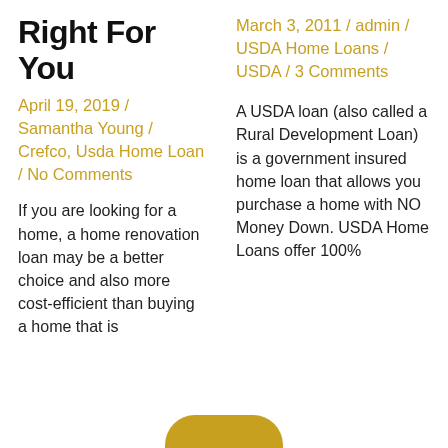Right For You
April 19, 2019 / Samantha Young / Crefco, Usda Home Loan / No Comments
If you are looking for a home, a home renovation loan may be a better choice and also more cost-efficient than buying a home that is
March 3, 2011 / admin / USDA Home Loans / USDA / 3 Comments
A USDA loan (also called a Rural Development Loan) is a government insured home loan that allows you purchase a home with NO Money Down. USDA Home Loans offer 100%